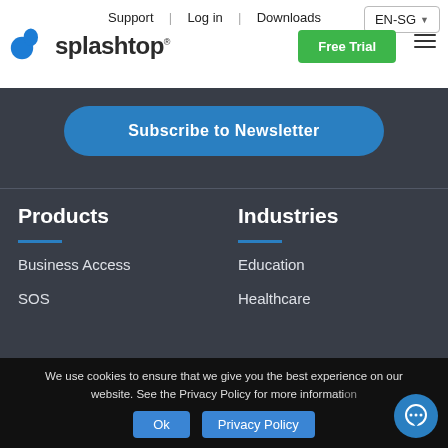Support | Log in | Downloads | EN-SG
[Figure (logo): Splashtop logo with blue splash icon and bold text 'splashtop']
Free Trial
Subscribe to Newsletter
Products
Industries
Business Access
SOS
Education
Healthcare
We use cookies to ensure that we give you the best experience on our website. See the Privacy Policy for more information
Ok
Privacy Policy